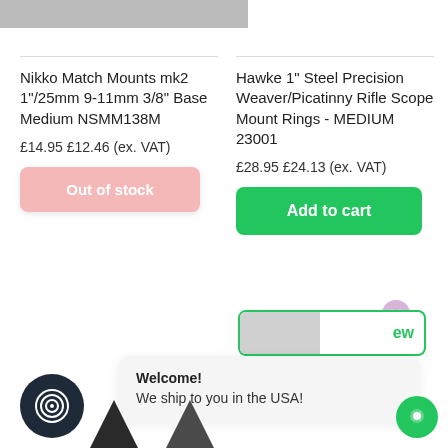[Figure (photo): Partial product image strip at top left]
Nikko Match Mounts mk2 1"/25mm 9-11mm 3/8" Base Medium NSMM138M
£14.95 £12.46 (ex. VAT)
Out of stock
Hawke 1" Steel Precision Weaver/Picatinny Rifle Scope Mount Rings - MEDIUM 23001
£28.95 £24.13 (ex. VAT)
Add to cart
ew
Welcome!
We ship to you in the USA!
[Figure (logo): Dark circular icon with concentric rings logo]
[Figure (logo): Green circular chat icon bottom right]